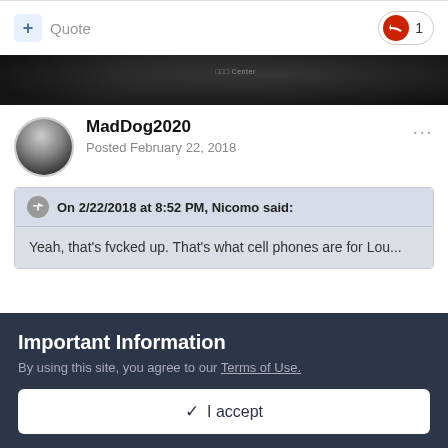+ Quote  1
[Figure (photo): Dark banner image, appears to be a night-time sports venue or stadium]
MadDog2020
Posted February 22, 2018
On 2/22/2018 at 8:52 PM, Nicomo said:
Yeah, that's fvcked up. That's what cell phones are for Lou...
Important Information
By using this site, you agree to our Terms of Use.
✓  I accept